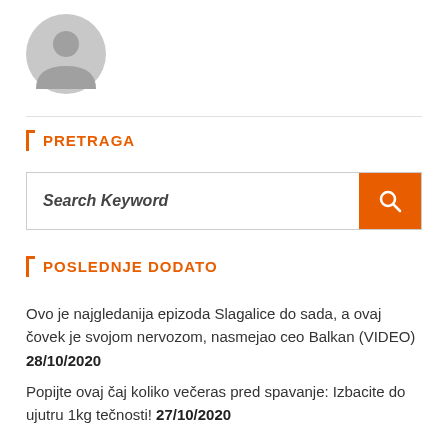[Figure (illustration): Gray circular user avatar icon with silhouette of a person]
PRETRAGA
[Figure (screenshot): Search box with placeholder text 'Search Keyword' and an orange search button with magnifying glass icon]
POSLEDNJE DODATO
Ovo je najgledanija epizoda Slagalice do sada, a ovaj čovek je svojom nervozom, nasmejao ceo Balkan (VIDEO) 28/10/2020
Popijte ovaj čaj koliko večeras pred spavanje: Izbacite do ujutru 1kg tečnosti! 27/10/2020